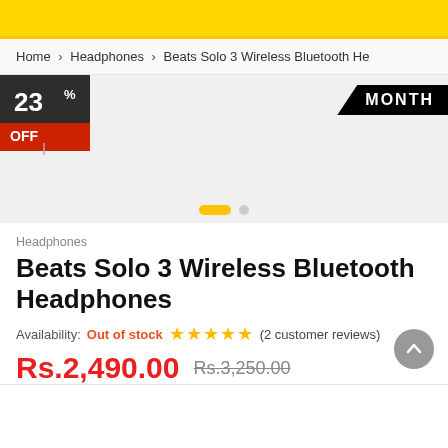[Figure (screenshot): Yellow promotional banner bar at top of e-commerce page]
Home > Headphones > Beats Solo 3 Wireless Bluetooth He
[Figure (infographic): Product image area with 23% OFF discount badge (dark pennant shape with red bottom) and MONTH badge on the right. Two carousel dots below.]
Headphones
Beats Solo 3 Wireless Bluetooth Headphones
Availability: Out of stock ★★★★★ (2 customer reviews)
Rs.2,490.00  Rs.3,250.00